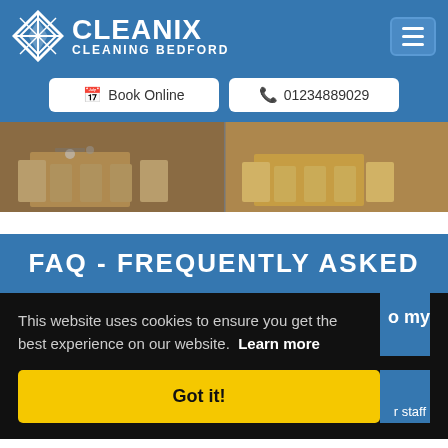[Figure (logo): Cleanix Cleaning Bedford logo with diamond/compass icon in white on blue background, with hamburger menu icon top-right]
[Figure (screenshot): Two navigation buttons: 'Book Online' and '01234889029' on blue background]
[Figure (photo): Before and after cleaning photos of a dining room with table and chairs]
FAQ - FREQUENTLY ASKED
This website uses cookies to ensure you get the best experience on our website.  Learn more
[Figure (screenshot): Got it! yellow button for cookie consent]
o my
r staff
are loyal and trustworthy.